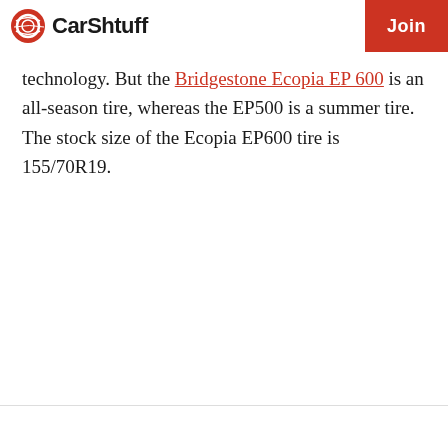CarShtuff | Join
technology. But the Bridgestone Ecopia EP 600 is an all-season tire, whereas the EP500 is a summer tire. The stock size of the Ecopia EP600 tire is 155/70R19.